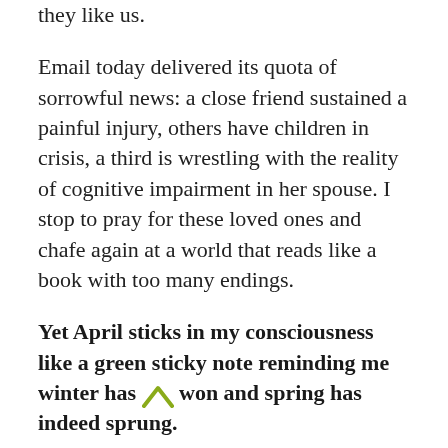they like us.
Email today delivered its quota of sorrowful news: a close friend sustained a painful injury, others have children in crisis, a third is wrestling with the reality of cognitive impairment in her spouse. I stop to pray for these loved ones and chafe again at a world that reads like a book with too many endings.
Yet April sticks in my consciousness like a green sticky note reminding me winter has won and spring has indeed sprung.
The renaissance of the world was the Creator's idea after all.